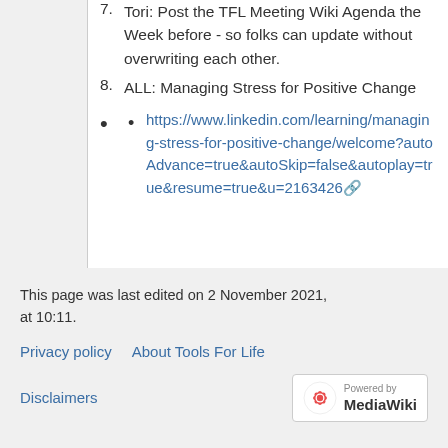7. Tori: Post the TFL Meeting Wiki Agenda the Week before - so folks can update without overwriting each other.
8. ALL: Managing Stress for Positive Change
https://www.linkedin.com/learning/managing-stress-for-positive-change/welcome?autoAdvance=true&autoSkip=false&autoplay=true&resume=true&u=2163426
This page was last edited on 2 November 2021, at 10:11.
Privacy policy  About Tools For Life  Disclaimers